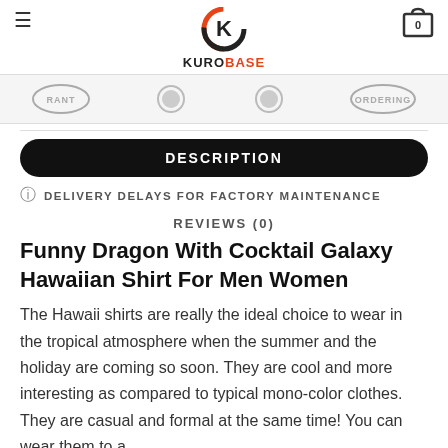KUROBASE
[Figure (other): Badge strip with stamp/seal icons: RANT(Y), two grey circular badges, ORDERING]
DESCRIPTION
DELIVERY DELAYS FOR FACTORY MAINTENANCE
REVIEWS (0)
Funny Dragon With Cocktail Galaxy Hawaiian Shirt For Men Women
The Hawaii shirts are really the ideal choice to wear in the tropical atmosphere when the summer and the holiday are coming so soon. They are cool and more interesting as compared to typical mono-color clothes. They are casual and formal at the same time! You can wear them to a